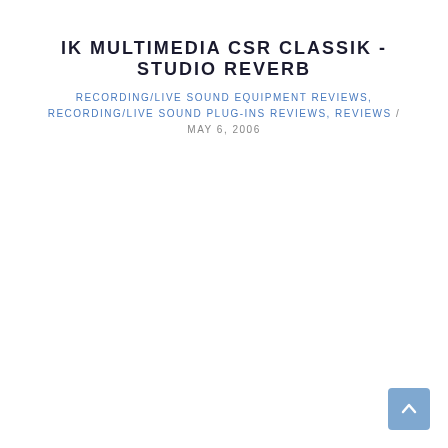IK MULTIMEDIA CSR CLASSIK - STUDIO REVERB
RECORDING/LIVE SOUND EQUIPMENT REVIEWS, RECORDING/LIVE SOUND PLUG-INS REVIEWS, REVIEWS / MAY 6, 2006